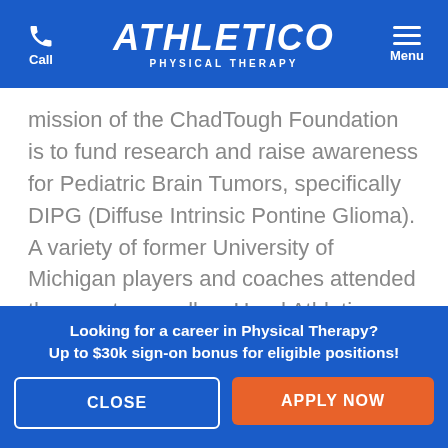Call | ATHLETICO PHYSICAL THERAPY | Menu
mission of the ChadTough Foundation is to fund research and raise awareness for Pediatric Brain Tumors, specifically DIPG (Diffuse Intrinsic Pontine Glioma). A variety of former University of Michigan players and coaches attended the event, as well as Head Athletic Trainer Paul Schmidt and Football Equipment Manager Jon Falk. In total, $24,850 was raised! Athletico was proud to be the title sponsor of this event.
Looking for a career in Physical Therapy? Up to $30k sign-on bonus for eligible positions!
CLOSE
APPLY NOW